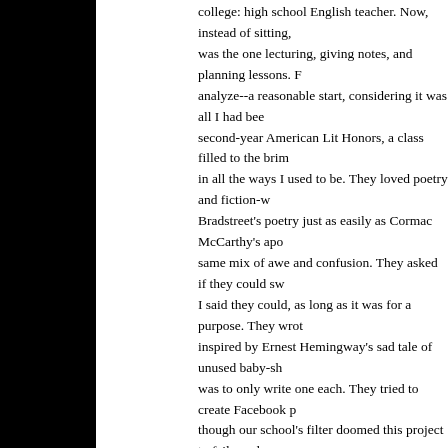college: high school English teacher. Now, instead of sitting, was the one lecturing, giving notes, and planning lessons. For analyze--a reasonable start, considering it was all I had been second-year American Lit Honors, a class filled to the brim in all the ways I used to be. They loved poetry and fiction-w Bradstreet's poetry just as easily as Cormac McCarthy's apo same mix of awe and confusion. They asked if they could sw I said they could, as long as it was for a purpose. They wrot inspired by Ernest Hemingway's sad tale of unused baby-sh was to only write one each. They tried to create Facebook p though our school's filter doomed this project to failure almo personal manifestos inspired by the work of Thoreau, finish Hawthorne's legendary notebook, and made their own creati American literature we read in class. Every project I threw a successful; I'd never enjoyed reading writing assignments th themselves responded with what I can only describe as--gas wishful thinking--a teacher's own delusion--or did some of t this?!)
By the end of my second year of teaching, these forty kids h staked to death the vampire that was Lit Theory--it was gon